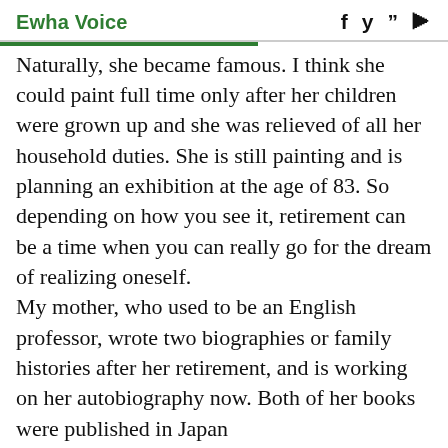Ewha Voice
Naturally, she became famous. I think she could paint full time only after her children were grown up and she was relieved of all her household duties. She is still painting and is planning an exhibition at the age of 83. So depending on how you see it, retirement can be a time when you can really go for the dream of realizing oneself.
My mother, who used to be an English professor, wrote two biographies or family histories after her retirement, and is working on her autobiography now. Both of her books were published in Japan